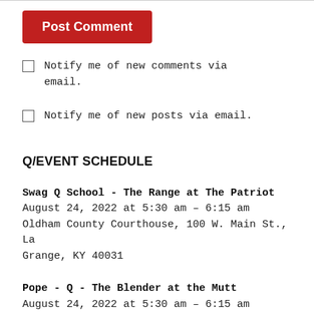[Figure (other): Red 'Post Comment' button]
Notify me of new comments via email.
Notify me of new posts via email.
Q/EVENT SCHEDULE
Swag Q School - The Range at The Patriot
August 24, 2022 at 5:30 am – 6:15 am
Oldham County Courthouse, 100 W. Main St., La Grange, KY 40031
Pope - Q - The Blender at the Mutt
August 24, 2022 at 5:30 am – 6:15 am
Holy Trinity School, 423 Cherrywood Rd, St